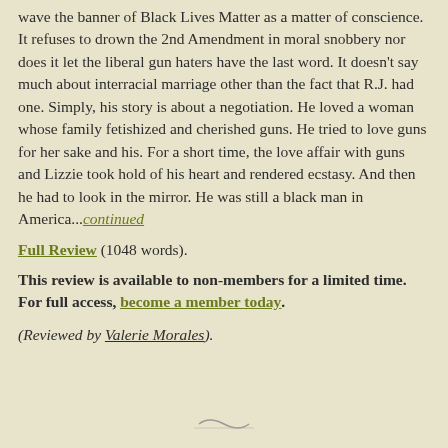wave the banner of Black Lives Matter as a matter of conscience. It refuses to drown the 2nd Amendment in moral snobbery nor does it let the liberal gun haters have the last word. It doesn't say much about interracial marriage other than the fact that R.J. had one. Simply, his story is about a negotiation. He loved a woman whose family fetishized and cherished guns. He tried to love guns for her sake and his. For a short time, the love affair with guns and Lizzie took hold of his heart and rendered ecstasy. And then he had to look in the mirror. He was still a black man in America...continued
Full Review (1048 words).
This review is available to non-members for a limited time. For full access, become a member today.
(Reviewed by Valerie Morales).